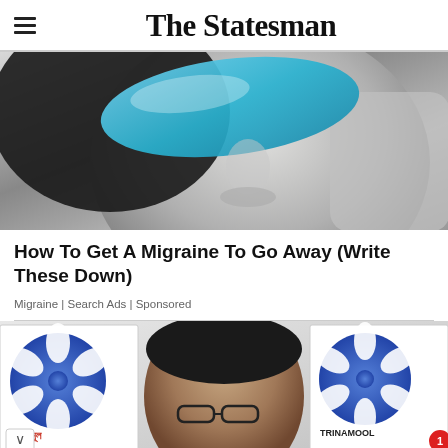The Statesman
[Figure (photo): Black and white photo of a person holding a blue surgical mask near their face, looking downward]
How To Get A Migraine To Go Away (Write These Down)
Migraine | Search Ads | Sponsored
[Figure (photo): Photo of a woman (Mamata Banerjee) in front of Trinamool Congress (TMC) party banners/posters with a flower logo and Bengali text. A notification badge with '1' is visible.]
[Figure (photo): Ryder Cup advertisement banner showing 'GET TICKET UPDATES' text with Ryder Cup logo and golf players in red and blue uniforms]